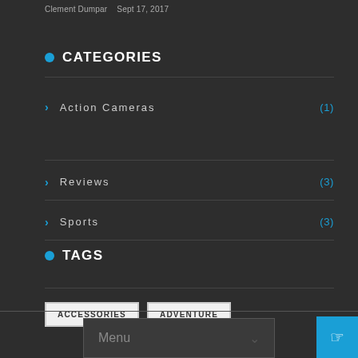Clement Dumpar   Sept 17, 2017
CATEGORIES
Action Cameras (1)
Reviews (3)
Sports (3)
TAGS
ACCESSORIES
ADVENTURE
Menu